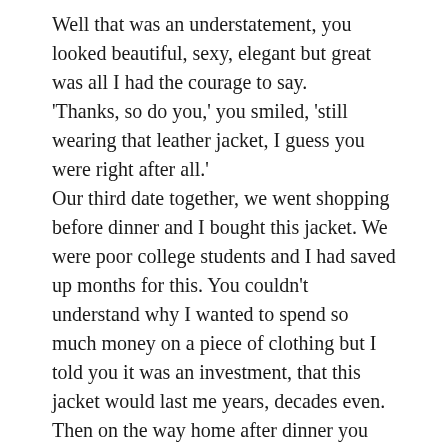Well that was an understatement, you looked beautiful, sexy, elegant but great was all I had the courage to say.
'Thanks, so do you,' you smiled, 'still wearing that leather jacket, I guess you were right after all.'
Our third date together, we went shopping before dinner and I bought this jacket. We were poor college students and I had saved up months for this. You couldn't understand why I wanted to spend so much money on a piece of clothing but I told you it was an investment, that this jacket would last me years, decades even. Then on the way home after dinner you were feeling cold so I put the jacket on you. You snuggled into it and finally admitted it was a